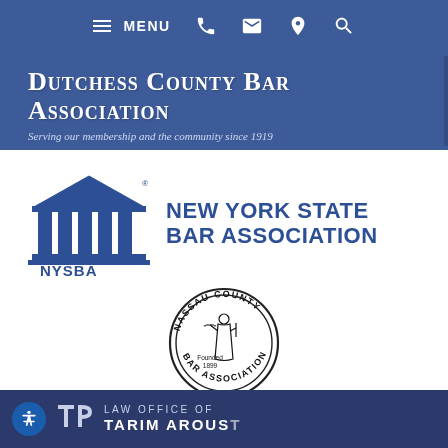[Figure (screenshot): Navigation bar with hamburger menu icon, MENU text, phone icon, email icon, location pin icon, and search icon on blue background]
[Figure (logo): Dutchess County Bar Association header banner with ornate serif title text and subtitle 'Serving our membership and the community since 1919' on blue background]
[Figure (logo): New York State Bar Association (NYSBA) logo with blue courthouse/columns graphic and text 'NEW YORK STATE BAR ASSOCIATION']
[Figure (logo): Nassau County Bar Association circular seal logo with Lady Justice figure, text 'Nassau County Bar Association Founded 1899']
[Figure (logo): Footer bar with accessibility icon, law office logo/icon, and text 'LAW OFFICE OF' with partial name visible below, dark blue background]